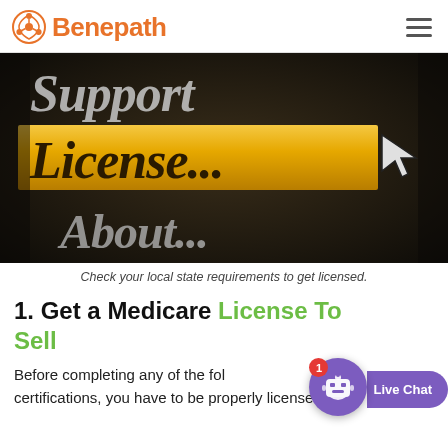Benepath
[Figure (photo): Close-up of a glossy screen menu showing 'Support', 'License...' (highlighted in yellow/gold with a cursor arrow pointing to it), and 'About...' menu items on a dark background.]
Check your local state requirements to get licensed.
1. Get a Medicare License To Sell
Before completing any of the following certifications, you have to be properly licensed to